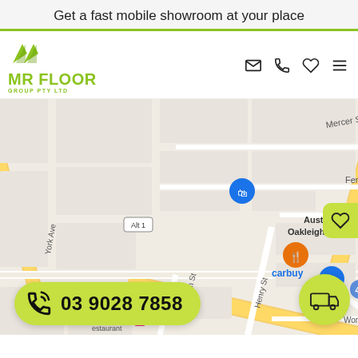Get a fast mobile showroom at your place
[Figure (logo): Mr Floor Group Pty Ltd logo with green chevron marks]
[Figure (map): Google Maps view of Oakleigh East area in Melbourne, showing Princes Hwy, Atherton Rd, Australia Post Oakleigh East LPO, CT Motors, Amsleigh Park Primary School, Estia Health Oakleigh East, carbuy, Campisi Pty restaurant, and surrounding streets]
03 9028 7858